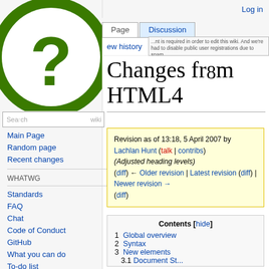Log in
[Figure (logo): WHATWG wiki green question mark logo, large circular icon with question mark]
Search wiki
Main Page
Random page
Recent changes
WHATWG
Standards
FAQ
Chat
Code of Conduct
GitHub
What you can do
To-do list
Registries
Changes from HTML4
Revision as of 13:18, 5 April 2007 by Lachlan Hunt (talk | contribs) (Adjusted heading levels) (diff) ← Older revision | Latest revision (diff) | Newer revision → (diff)
Contents [hide]
1 Global overview
2 Syntax
3 New elements
3.1 Document St...